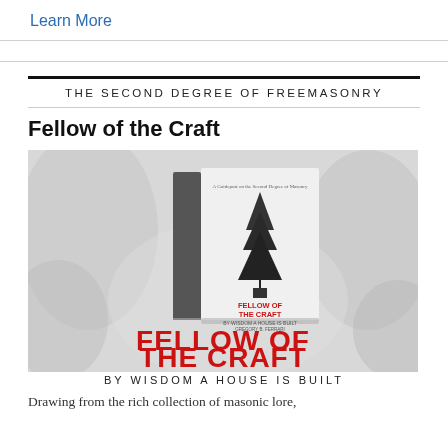Learn More
THE SECOND DEGREE OF FREEMASONRY
Fellow of the Craft
[Figure (illustration): Book cover image for 'Fellow of the Craft' by Wisdom a House is Built — showing a stylized book with a tall dark tree/obelisk on the cover, with large decorative red runic-style lettering spelling FELLOW OF THE CRAFT BY WISDOM A HOUSE IS BUILT against a grey/white textured background.]
Drawing from the rich collection of masonic lore,